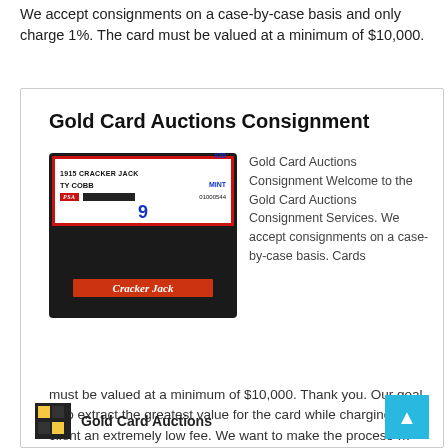We accept consignments on a case-by-case basis and only charge 1%. The card must be valued at a minimum of $10,000.
Gold Card Auctions Consignment
[Figure (photo): PSA graded 1915 Cracker Jack #30 Ty Cobb baseball card, graded MINT 9, cert number 01000544]
Gold Card Auctions Consignment Welcome to the Gold Card Auctions Consignment Services. We accept consignments on a case-by-case basis. Cards must be valued at a minimum of $10,000. Thank you. Our goal is to extract the greatest value for the card while charging the client an extremely low fee. We want to make the process … Continue reading
Gold Card Auctions